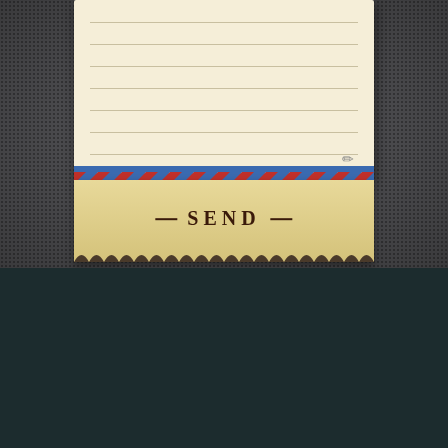[Figure (illustration): Vintage airmail envelope with lined paper letter sticking out, showing ruled lines and a pencil icon. Below the paper is a red-and-blue airmail diagonal stripe border, and a tan/beige envelope flap with scalloped bottom edge and a SEND button label with dashes on either side.]
© Copyright 2022 Gene Morgan Insurance Agency. All rights reserved.
Privacy Policy | Developed & hosted by AirTight